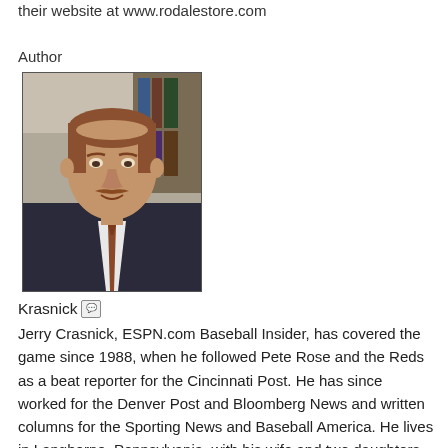their website at www.rodalestore.com
Author
[Figure (photo): Portrait photo of author Jerry Crasnick, a middle-aged man with reddish-brown hair and mustache, wearing a dark suit and tie, seated indoors with bookshelves in background.]
Krasnick
Jerry Crasnick, ESPN.com Baseball Insider, has covered the game since 1988, when he followed Pete Rose and the Reds as a beat reporter for the Cincinnati Post. He has since worked for the Denver Post and Bloomberg News and written columns for the Sporting News and Baseball America. He lives in Langhorne, Pennsylvania, with his wife and two daughters. License to Deal is his first book.